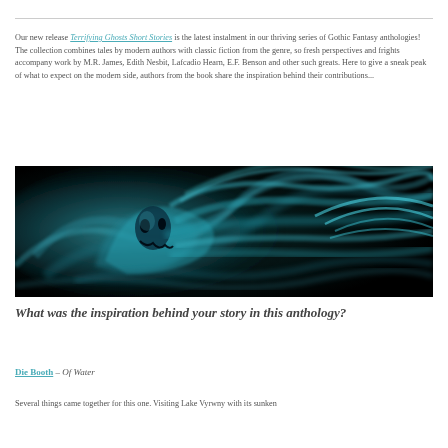Our new release Terrifying Ghosts Short Stories is the latest instalment in our thriving series of Gothic Fantasy anthologies! The collection combines tales by modern authors with classic fiction from the genre, so fresh perspectives and frights accompany work by M.R. James, Edith Nesbit, Lafcadio Hearn, E.F. Benson and other such greats. Here to give a sneak peak of what to expect on the modern side, authors from the book share the inspiration behind their contributions...
[Figure (illustration): Dark atmospheric illustration of a ghostly spectral figure with swirling teal/cyan tendrils and a horrifying face emerging from darkness]
What was the inspiration behind your story in this anthology?
Die Booth – Of Water
Several things came together for this one. Visiting Lake Vyrwny with its sunken